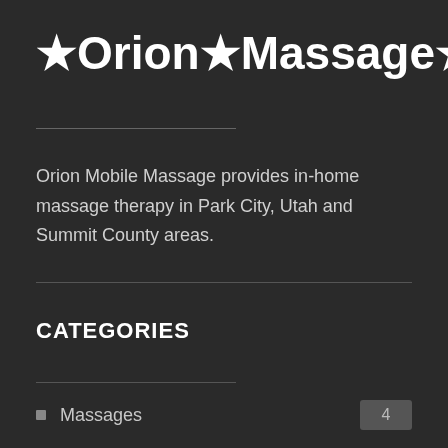★Orion★Massage★
Orion Mobile Massage provides in-home massage therapy in Park City, Utah and Summit County areas.
CATEGORIES
Massages  4